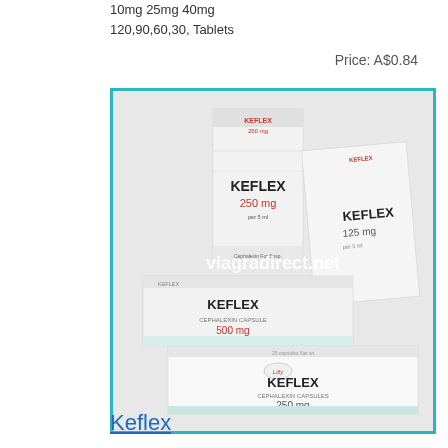10mg 25mg 40mg
120,90,60,30, Tablets
Price: A$0.84
[Figure (photo): Multiple Keflex medication boxes showing different strengths: Keflex 250mg per 5ml, Keflex 125mg per 5ml, Keflex 500mg capsules, and Keflex 250mg capsules. Boxes are white with teal/green accents and red dosage text. Watermark reads viagradirect.net.]
Keflex